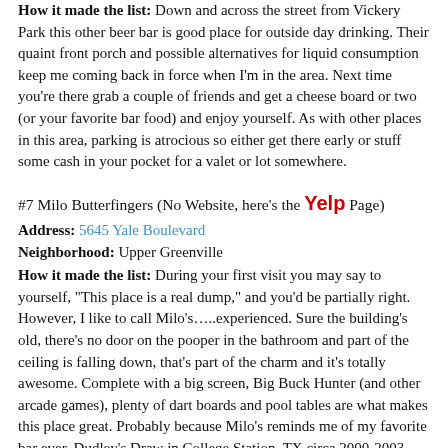How it made the list: Down and across the street from Vickery Park this other beer bar is good place for outside day drinking. Their quaint front porch and possible alternatives for liquid consumption keep me coming back in force when I'm in the area. Next time you're there grab a couple of friends and get a cheese board or two (or your favorite bar food) and enjoy yourself. As with other places in this area, parking is atrocious so either get there early or stuff some cash in your pocket for a valet or lot somewhere.
#7 Milo Butterfingers (No Website, here's the Yelp Page)
Address: 5645 Yale Boulevard
Neighborhood: Upper Greenville
How it made the list: During your first visit you may say to yourself, "This place is a real dump," and you'd be partially right. However, I like to call Milo's…..experienced. Sure the building's old, there's no door on the pooper in the bathroom and part of the ceiling is falling down, that's part of the charm and it's totally awesome. Complete with a big screen, Big Buck Hunter (and other arcade games), plenty of dart boards and pool tables are what makes this place great. Probably because Milo's reminds me of my favorite bar ever, Dudley's Draw in College Station, TX circa 2000-2003. And for the Texas/Oklahoma fans out there, the regular display of various sports memorabilia is exchanged with school